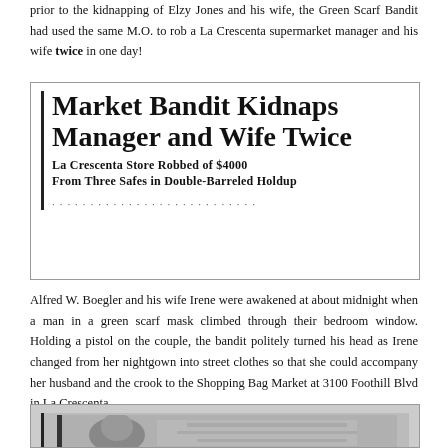prior to the kidnapping of Elzy Jones and his wife, the Green Scarf Bandit had used the same M.O. to rob a La Crescenta supermarket manager and his wife twice in one day!
[Figure (screenshot): Newspaper clipping with headline 'Market Bandit Kidnaps Manager and Wife Twice' and subheadline 'La Crescenta Store Robbed of $4000 From Three Safes in Double-Barreled Holdup']
Alfred W. Boegler and his wife Irene were awakened at about midnight when a man in a green scarf mask climbed through their bedroom window. Holding a pistol on the couple, the bandit politely turned his head as Irene changed from her nightgown into street clothes so that she could accompany her husband and the crook to the Shopping Bag Market at 3100 Foothill Blvd in La Crescenta.
[Figure (photo): Partially visible photograph at bottom of page, appears to be a newspaper photo]